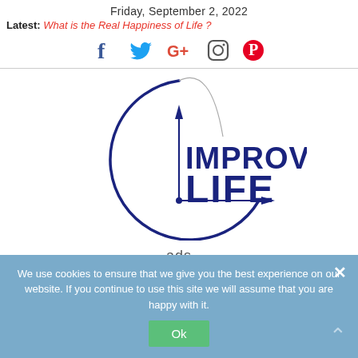Friday, September 2, 2022
Latest: What is the Real Happiness of Life ?
[Figure (other): Social media icons: Facebook, Twitter, Google+, Instagram, Pinterest]
[Figure (logo): Improve Life logo: circle with vertical and horizontal arrows, text IMPROVE LIFE in dark blue bold]
ads
We use cookies to ensure that we give you the best experience on our website. If you continue to use this site we will assume that you are happy with it.